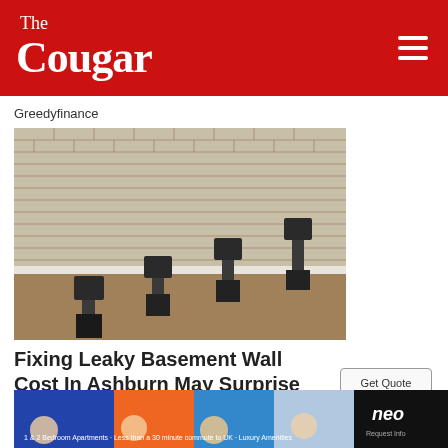The Cougar
Greedyfinance
[Figure (photo): Construction photo showing foundation wall repair with hydraulic piers or push piers installed along the base of a brick/block foundation wall, with exposed soil.]
Fixing Leaky Basement Wall Cost In Ashburn May Surprise You
[Figure (photo): Advertisement banner for NEO apartments showing people at a pool with text about 1 & 2 bedroom apartments, less than 30 minute commute to UK, Luxury Amenities.]